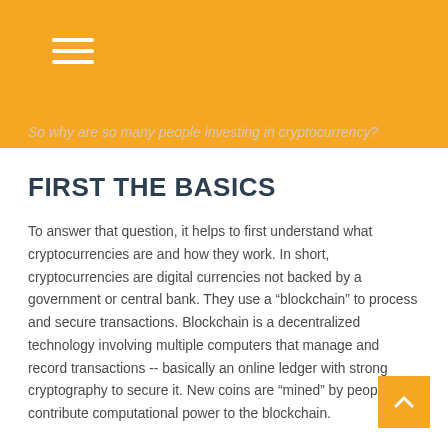So why are so many people investing in cryptocurrency?
FIRST THE BASICS
To answer that question, it helps to first understand what cryptocurrencies are and how they work. In short, cryptocurrencies are digital currencies not backed by a government or central bank. They use a “blockchain” to process and secure transactions. Blockchain is a decentralized technology involving multiple computers that manage and record transactions -- basically an online ledger with strong cryptography to secure it. New coins are “mined” by people who contribute computational power to the blockchain.
If all this sounds confusing -- or cryptic -- to you, you’re not alone. Even hard-core techies have a tough time getting